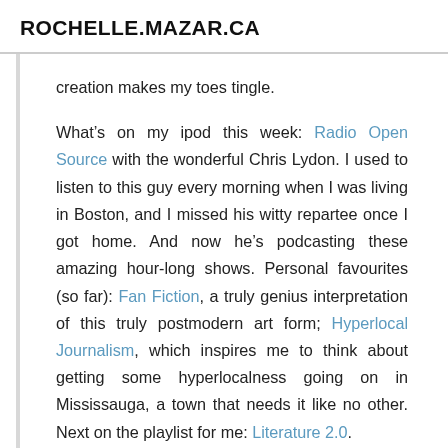ROCHELLE.MAZAR.CA
creation makes my toes tingle.
What’s on my ipod this week: Radio Open Source with the wonderful Chris Lydon. I used to listen to this guy every morning when I was living in Boston, and I missed his witty repartee once I got home. And now he’s podcasting these amazing hour-long shows. Personal favourites (so far): Fan Fiction, a truly genius interpretation of this truly postmodern art form; Hyperlocal Journalism, which inspires me to think about getting some hyperlocalness going on in Mississauga, a town that needs it like no other. Next on the playlist for me: Literature 2.0.
Disappointment of the week: the total lack of This